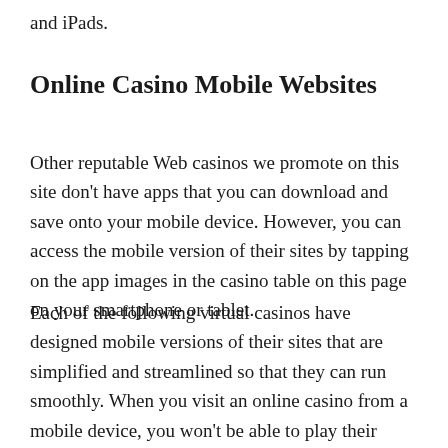and iPads.
Online Casino Mobile Websites
Other reputable Web casinos we promote on this site don't have apps that you can download and save onto your mobile device. However, you can access the mobile version of their sites by tapping on the app images in the casino table on this page on your smartphone or tablet.
Each of the following virtual casinos have designed mobile versions of their sites that are simplified and streamlined so that they can run smoothly. When you visit an online casino from a mobile device, you won't be able to play their entire gaming catalogue, as they will usually only have their most popular gaming titles on offer. However there will always be